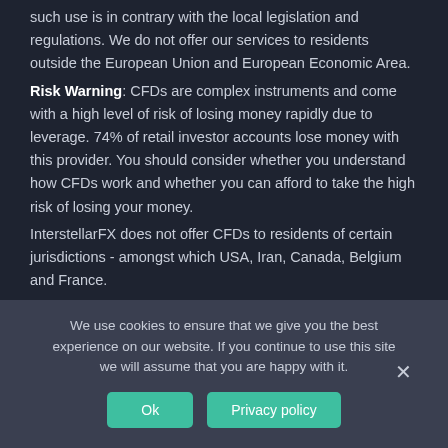such use is in contrary with the local legislation and regulations. We do not offer our services to residents outside the European Union and European Economic Area.
Risk Warning: CFDs are complex instruments and come with a high level of risk of losing money rapidly due to leverage. 74% of retail investor accounts lose money with this provider. You should consider whether you understand how CFDs work and whether you can afford to take the high risk of losing your money.
InterstellarFX does not offer CFDs to residents of certain jurisdictions - amongst which USA, Iran, Canada, Belgium and France.
We use cookies to ensure that we give you the best experience on our website. If you continue to use this site we will assume that you are happy with it.